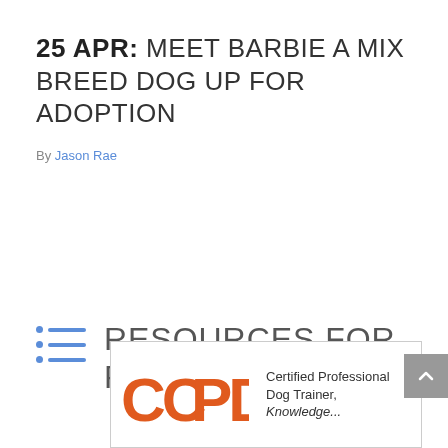25 APR: MEET BARBIE A MIX BREED DOG UP FOR ADOPTION
By Jason Rae
RESOURCES FOR PET OWNERS
[Figure (logo): CCPDT logo with orange letters and text: Certified Professional Dog Trainer, Knowledge...]